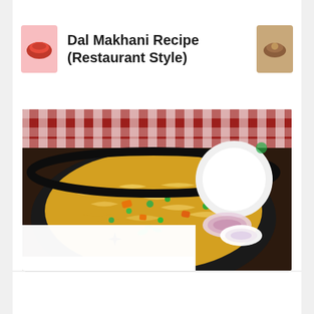Dal Makhani Recipe (Restaurant Style)
[Figure (photo): Food photo of Veg Biryani / Vegetable Biryani in a black cast iron pan with onion rings and garnish, with a checkered red cloth in background]
Veg Biryani | Vegetable Biryani